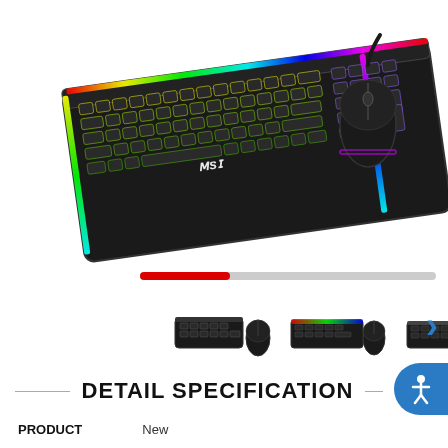[Figure (photo): MSI gaming keyboard with RGB lighting and a wired gaming mouse, photographed at an angle on a white background.]
[Figure (photo): Thumbnail: MSI gaming keyboard and mouse set, dark angled view.]
[Figure (photo): Thumbnail: MSI gaming keyboard with mouse, front view with RGB lighting.]
[Figure (photo): Thumbnail: MSI gaming keyboard and mouse, flat top-down view.]
DETAIL SPECIFICATION
| PRODUCT |  |
| --- | --- |
| PRODUCT | New |